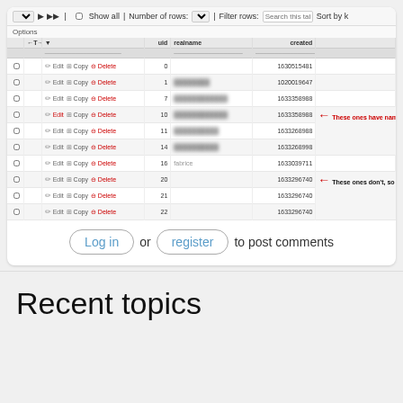[Figure (screenshot): Screenshot of a database admin table showing user records with columns for actions (Edit/Copy/Delete), uid, realname, and created timestamp. Annotations with red arrows indicate: rows with realname values shown as 'username', and rows without realname showing actual username.]
Log in or register to post comments
Recent topics